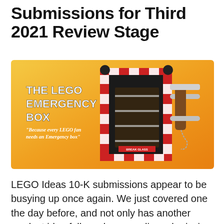Submissions for Third 2021 Review Stage
[Figure (photo): The LEGO Emergency Box product image on an orange/yellow gradient background. Shows a red and white checkered LEGO emergency box mounted on a wall with a hammer beside it. Text overlay reads: 'THE LEGO EMERGENCY BOX' and 'Because every LEGO fan needs an Emergency box']
LEGO Ideas 10-K submissions appear to be busying up once again. We just covered one the day before, and not only has another product idea followed, one earlier submission was